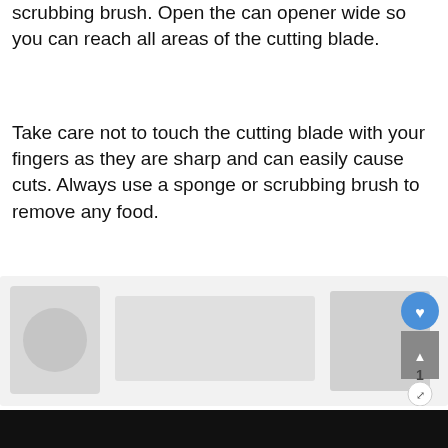scrubbing brush. Open the can opener wide so you can reach all areas of the cutting blade.
Take care not to touch the cutting blade with your fingers as they are sharp and can easily cause cuts. Always use a sponge or scrubbing brush to remove any food.
[Figure (photo): A photo of a can opener being cleaned, with UI overlay elements including a blue heart/like button, a grey bookmark button showing count '1', and a share button.]